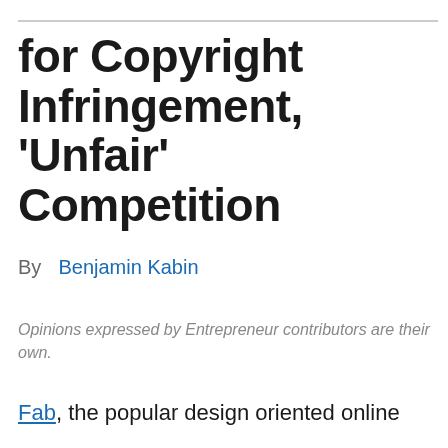for Copyright Infringement, 'Unfair' Competition
By  Benjamin Kabin
Opinions expressed by Entrepreneur contributors are their own.
Fab, the popular design oriented online